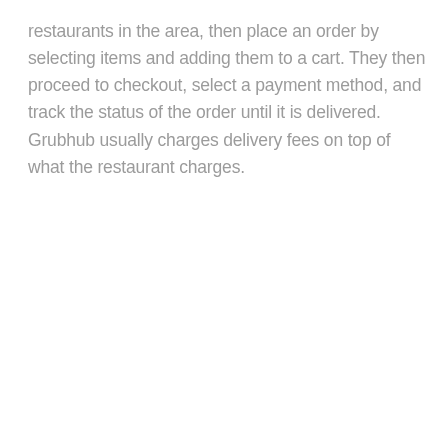restaurants in the area, then place an order by selecting items and adding them to a cart. They then proceed to checkout, select a payment method, and track the status of the order until it is delivered. Grubhub usually charges delivery fees on top of what the restaurant charges.